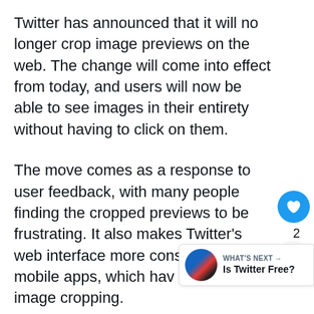Twitter has announced that it will no longer crop image previews on the web. The change will come into effect from today, and users will now be able to see images in their entirety without having to click on them.
The move comes as a response to user feedback, with many people finding the cropped previews to be frustrating. It also makes Twitter's web interface more consistent with its mobile apps, which have never had image cropping.
This is a welcome change for those who use